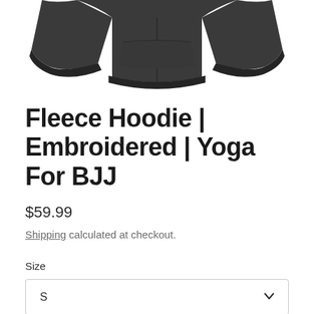[Figure (photo): Bottom portion of a dark charcoal/dark grey fleece hoodie, showing the hem, front pocket seam, and cuffs against a white background.]
Fleece Hoodie | Embroidered | Yoga For BJJ
$59.99
Shipping calculated at checkout.
Size
S